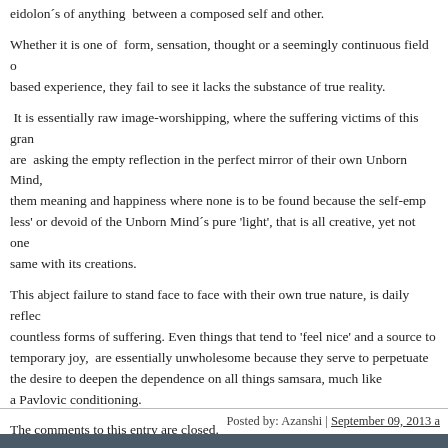eidolon´s of anything  between a composed self and other.
Whether it is one of  form, sensation, thought or a seemingly continuous field of based experience, they fail to see it lacks the substance of true reality.
It is essentially raw image-worshipping, where the suffering victims of this grand are  asking the empty reflection in the perfect mirror of their own Unborn Mind, them meaning and happiness where none is to be found because the self-emp less' or devoid of the Unborn Mind´s pure 'light', that is all creative, yet not one same with its creations.
This abject failure to stand face to face with their own true nature, is daily reflec countless forms of suffering. Even things that tend to 'feel nice' and a source to temporary joy,  are essentially unwholesome because they serve to perpetuate the desire to deepen the dependence on all things samsara, much like a Pavlovic conditioning.
It is a vicious circle,  close to impossible for most sentient beings to escape due inner will to stand alienated from the wholesome and healing light of the  true d
Posted by: Azanshi | September 09, 2013
The comments to this entry are closed.